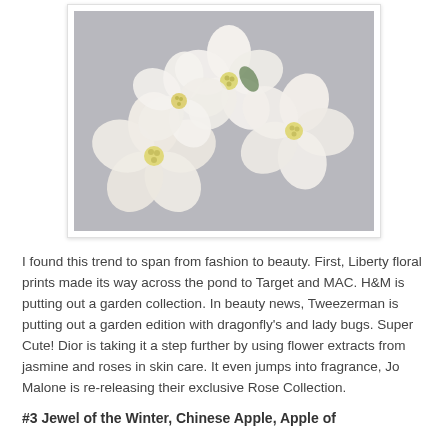[Figure (photo): Close-up photo of white paper or fabric flowers with pale yellow centers, arranged in a cluster on a light gray background.]
I found this trend to span from fashion to beauty. First, Liberty floral prints made its way across the pond to Target and MAC. H&M is putting out a garden collection. In beauty news, Tweezerman is putting out a garden edition with dragonfly's and lady bugs. Super Cute! Dior is taking it a step further by using flower extracts from jasmine and roses in skin care. It even jumps into fragrance, Jo Malone is re-releasing their exclusive Rose Collection.
#3 Jewel of the Winter, Chinese Apple, Apple of